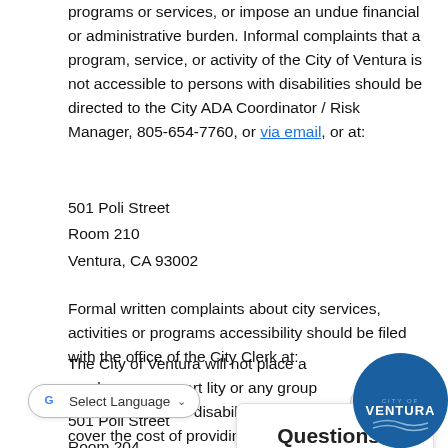programs or services, or impose an undue financial or administrative burden. Informal complaints that a program, service, or activity of the City of Ventura is not accessible to persons with disabilities should be directed to the City ADA Coordinator / Risk Manager, 805-654-7760, or via email, or at:
501 Poli Street
Room 210
Ventura, CA 93002
Formal written complaints about city services, activities or programs accessibility should be filed with the office of the City Clerk at:
501 Poli Street
Room 204
Ventura, CA 93002
The City of Ventura will not place a surcharge on a parti lity or any group of individuals with disabilities to cover the cost of providing auxiliary